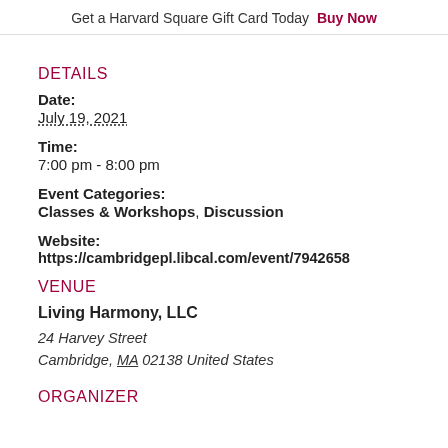Get a Harvard Square Gift Card Today  Buy Now
DETAILS
Date:
July 19, 2021
Time:
7:00 pm - 8:00 pm
Event Categories:
Classes & Workshops, Discussion
Website:
https://cambridgepl.libcal.com/event/7942658
VENUE
Living Harmony, LLC
24 Harvey Street
Cambridge, MA 02138 United States
ORGANIZER